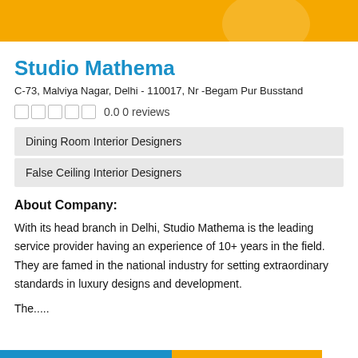[Figure (other): Yellow header banner with abstract light shape]
Studio Mathema
C-73, Malviya Nagar, Delhi - 110017, Nr -Begam Pur Busstand
0.0 0 reviews
Dining Room Interior Designers
False Ceiling Interior Designers
About Company:
With its head branch in Delhi, Studio Mathema is the leading service provider having an experience of 10+ years in the field. They are famed in the national industry for setting extraordinary standards in luxury designs and development.
The.....